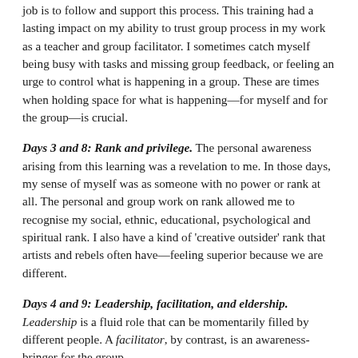job is to follow and support this process. This training had a lasting impact on my ability to trust group process in my work as a teacher and group facilitator. I sometimes catch myself being busy with tasks and missing group feedback, or feeling an urge to control what is happening in a group. These are times when holding space for what is happening—for myself and for the group—is crucial.
Days 3 and 8: Rank and privilege. The personal awareness arising from this learning was a revelation to me. In those days, my sense of myself was as someone with no power or rank at all. The personal and group work on rank allowed me to recognise my social, ethnic, educational, psychological and spiritual rank. I also have a kind of 'creative outsider' rank that artists and rebels often have—feeling superior because we are different.
Days 4 and 9: Leadership, facilitation, and eldership. Leadership is a fluid role that can be momentarily filled by different people. A facilitator, by contrast, is an awareness-bringer for the group.